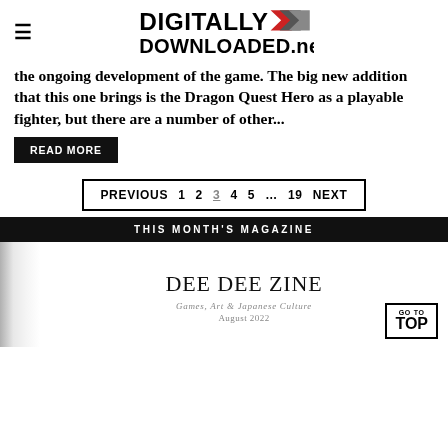DIGITALLY DOWNLOADED.net
the ongoing development of the game. The big new addition that this one brings is the Dragon Quest Hero as a playable fighter, but there are a number of other...
READ MORE
PREVIOUS 1 2 3 4 5 … 19 NEXT
THIS MONTH'S MAGAZINE
[Figure (illustration): DEE DEE ZINE magazine cover preview with grey spine bar. Shows title 'DEE DEE ZINE', subtitle 'Games, Art & Japanese Culture', date 'August 2022']
GO TO TOP